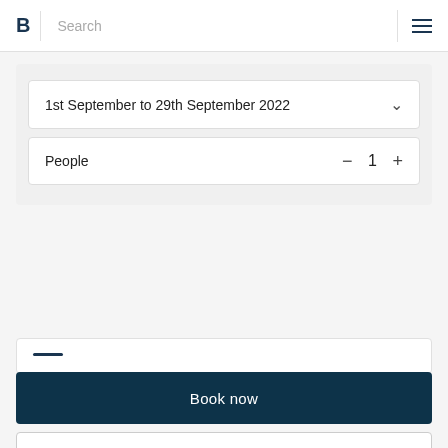B  Search  ☰
1st September to 29th September 2022
People  −  1  +
Book now
Ask a question